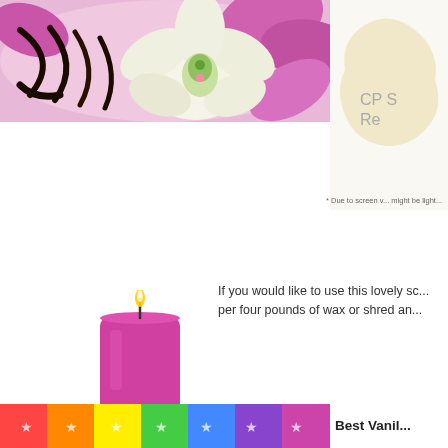[Figure (photo): Photo of vanilla beans and white orchid flower on pink background]
[Figure (photo): Partial view of a cream/beige shaped soap or product with text 'CP S... Re...' partially visible]
* Due to screen v... might be light...
[Figure (photo): Pink pillar candle with flame]
Color Suggestion
If you would like to use this lovely sc... per four pounds of wax or shred an...
[Figure (photo): Rainbow colored strip at bottom]
Best Vanil...